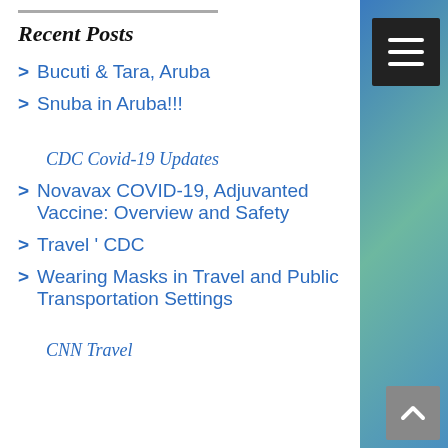Recent Posts
Bucuti & Tara, Aruba
Snuba in Aruba!!!
CDC Covid-19 Updates
Novavax COVID-19, Adjuvanted Vaccine: Overview and Safety
Travel ' CDC
Wearing Masks in Travel and Public Transportation Settings
CNN Travel